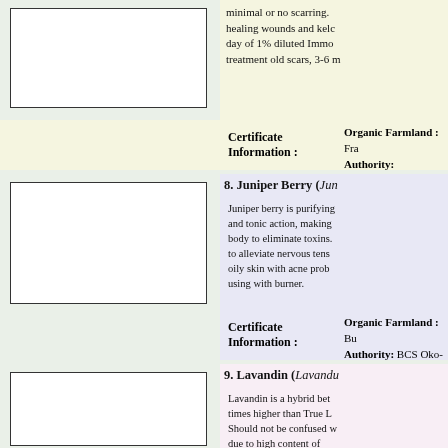[Figure (illustration): Empty white rectangle placeholder image, green-tinted background section]
minimal or no scarring. healing wounds and keloids, day of 1% diluted Immo... treatment old scars, 3-6 m...
Certificate Information :
Organic Farmland : Fra... Authority: ECOCERT S...
[Figure (illustration): Empty white rectangle placeholder image, lavender background section]
8. Juniper Berry (Jun...
Juniper berry is purifying... and tonic action, making... body to eliminate toxins. to alleviate nervous tens... oily skin with acne prob... using with burner.
Certificate Information :
Organic Farmland : Bu... Authority: BCS Oko-Ga...
[Figure (illustration): Empty white rectangle placeholder image, pink background section]
9. Lavandin (Lavandula...
Lavandin is a hybrid bet... times higher than True L... Should not be confused w... due to high content of... system and very effectiv... good for muscular pain a...